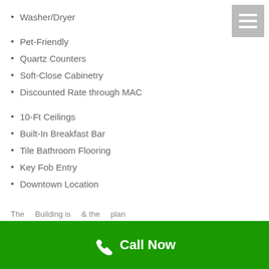[Figure (other): Hamburger menu button icon in gray square, top right corner]
Washer/Dryer
Pet-Friendly
Quartz Counters
Soft-Close Cabinetry
Discounted Rate through MAC
10-Ft Ceilings
Built-In Breakfast Bar
Tile Bathroom Flooring
Key Fob Entry
Downtown Location
The ... Building is ... & the ... plan ...
Call Now